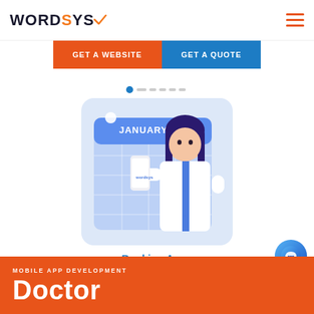[Figure (logo): WORDSYS logo with orange Y accent mark]
GET A WEBSITE
GET A QUOTE
[Figure (illustration): Doctor/medical professional in white coat holding a smartphone, standing in front of a January calendar with grid lines. Booking app illustration with blue background card and rounded corners.]
Booking Apps
Lorem ipsum dolor sit amet, consectetuer adipiscing elit, sed diam nonummy nibh euismod
Book Now
MOBILE APP DEVELOPMENT
Doctor